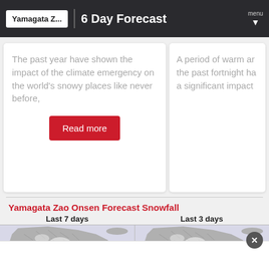Yamagata Z... | 6 Day Forecast
The past year have shown the impact of the climate emergency on the world's snowy places like never before,
A period of warm ar the past fortnight ha a significant impact
Read more
Yamagata Zao Onsen Forecast Snowfall
Last 7 days
Last 3 days
[Figure (map): Two side-by-side snowfall forecast maps of Japan (Yamagata region), showing topographic relief in grey and snow accumulation in light purple/blue. Left panel labeled Last 7 days, right panel labeled Last 3 days.]